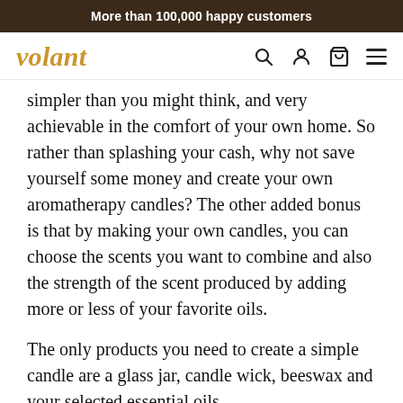More than 100,000 happy customers
[Figure (logo): volant logo in italic golden text with navigation icons: search, account, cart, hamburger menu]
simpler than you might think, and very achievable in the comfort of your own home. So rather than splashing your cash, why not save yourself some money and create your own aromatherapy candles? The other added bonus is that by making your own candles, you can choose the scents you want to combine and also the strength of the scent produced by adding more or less of your favorite oils.
The only products you need to create a simple candle are a glass jar, candle wick, beeswax and your selected essential oils.
First, melt the wax and add your chosen essential oils to